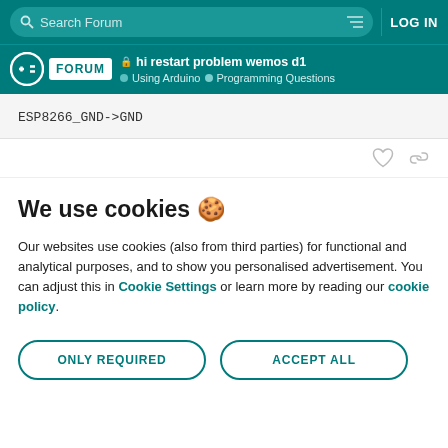Search Forum | LOG IN
hi restart problem wemos d1 | Using Arduino > Programming Questions
ESP8266_GND->GND
We use cookies 🍪
Our websites use cookies (also from third parties) for functional and analytical purposes, and to show you personalised advertisement. You can adjust this in Cookie Settings or learn more by reading our cookie policy.
ONLY REQUIRED | ACCEPT ALL